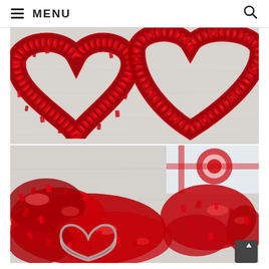≡ MENU
[Figure (photo): Close-up of two red tinsel/garland heart wreaths on a white wooden surface, made from shiny red metallic fringe material]
[Figure (photo): Close-up of red tinsel garland and a wire heart wreath frame on a white wooden surface, with a red and white package visible in the background]